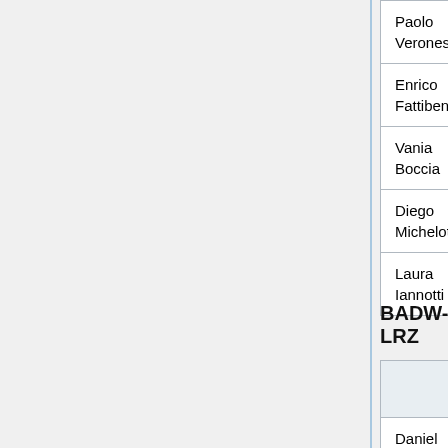| Name | Email |  |  |
| --- | --- | --- | --- |
| Paolo Veronesi | paolo.veronesi at cnaf.infn.it |  |
| Enrico Fattibene | enrico.fattibene at cnaf.infn.it |  |
| Vania Boccia | vania.boccia at unina.it |  |
| Diego Michelotto | diego.michelotto at cnaf.infn.it |  |
| Laura Iannotti | laura.iannotti at to.infn.it |  |
BADW-LRZ
| Name | Email | EGI SSO login | Expertise |
| --- | --- | --- | --- |
| Daniel Waldmann |  | waldmann | Globus |